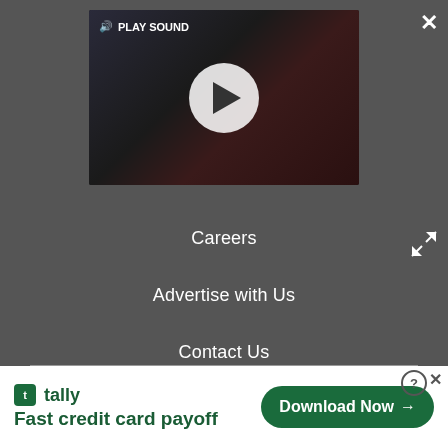[Figure (screenshot): Video player with play button and PLAY SOUND label]
Careers
Advertise with Us
Contact Us
Do not sell my info
© Future Publishing Limited Quay House, The Ambury, Bath
[Figure (screenshot): Tally advertisement banner: Fast credit card payoff, Download Now button]